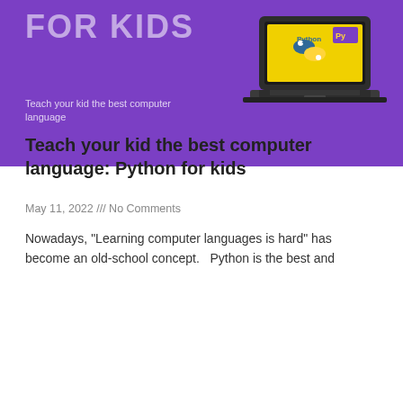[Figure (illustration): Purple banner background with large semi-transparent text 'FOR KIDS', subtitle 'Teach your kid the best computer language', and a laptop illustration showing Python logo on yellow screen]
Teach your kid the best computer language: Python for kids
May 11, 2022 /// No Comments
Nowadays, "Learning computer languages is hard" has become an old-school concept.   Python is the best and